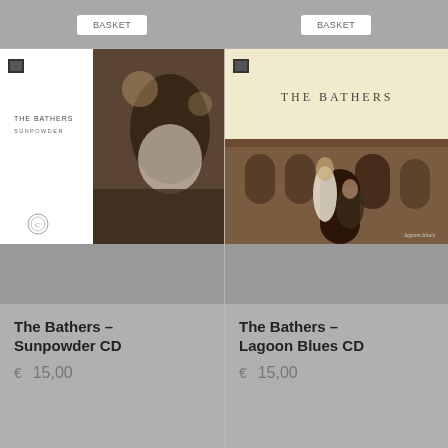Basket
Basket
[Figure (photo): Album cover for The Bathers – Sunpowder CD, showing a young man in formal attire in a grand interior, with text 'THE BATHERS SUNPOWDER' on white left panel]
[Figure (photo): Album cover for The Bathers – Lagoon Blues CD, cream top half with 'THE BATHERS' text, bottom half shows two people near a historic building facade]
The Bathers – Sunpowder CD
€  15,00
The Bathers – Lagoon Blues CD
€  15,00